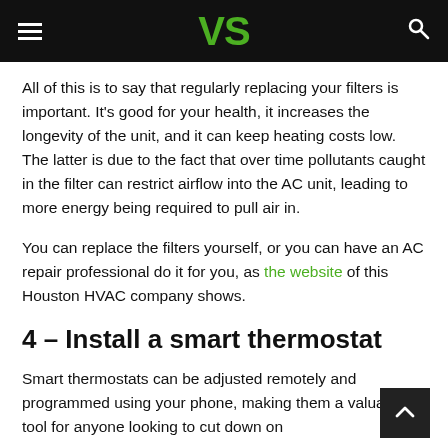VS
All of this is to say that regularly replacing your filters is important. It's good for your health, it increases the longevity of the unit, and it can keep heating costs low. The latter is due to the fact that over time pollutants caught in the filter can restrict airflow into the AC unit, leading to more energy being required to pull air in.
You can replace the filters yourself, or you can have an AC repair professional do it for you, as the website of this Houston HVAC company shows.
4 – Install a smart thermostat
Smart thermostats can be adjusted remotely and programmed using your phone, making them a valuable tool for anyone looking to cut down on